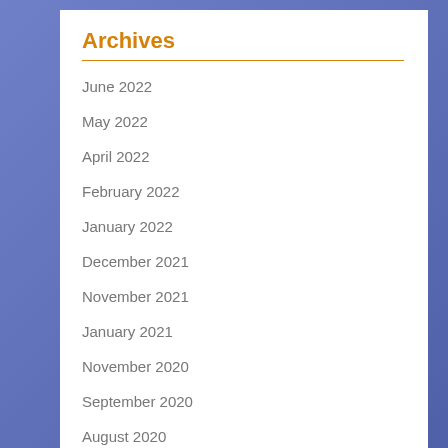Archives
June 2022
May 2022
April 2022
February 2022
January 2022
December 2021
November 2021
January 2021
November 2020
September 2020
August 2020
July 2020
June 2020